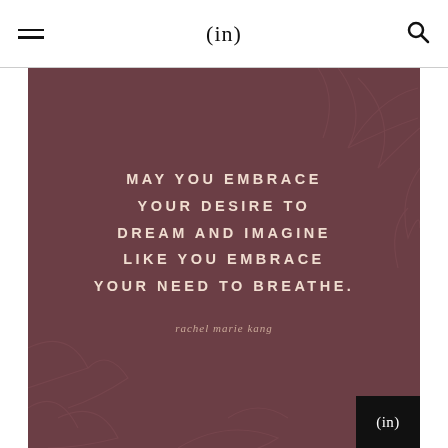(in)
[Figure (illustration): Dark mauve/burgundy square image with subtle botanical leaf line art in the background. Contains an inspirational quote in bold uppercase spaced letters and an author attribution in italic script. A small black badge with '(in)' appears in the bottom-right corner.]